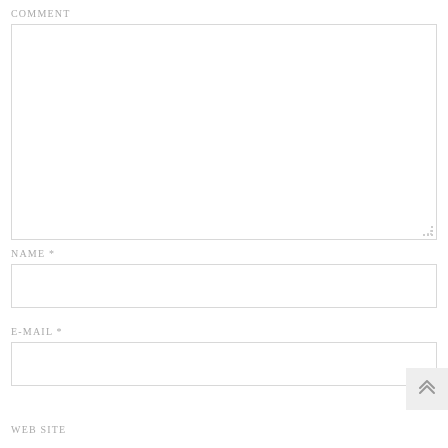COMMENT
[Figure (screenshot): Empty comment textarea form field with light gray border and resize handle in bottom-right corner]
NAME *
[Figure (screenshot): Empty name input form field with light gray border]
E-MAIL *
[Figure (screenshot): Empty email input form field with light gray border]
WEB SITE